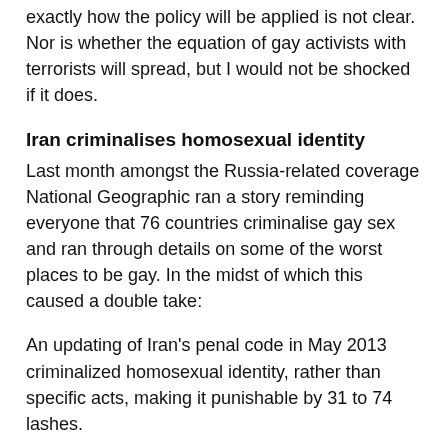exactly how the policy will be applied is not clear. Nor is whether the equation of gay activists with terrorists will spread, but I would not be shocked if it does.
Iran criminalises homosexual identity
Last month amongst the Russia-related coverage National Geographic ran a story reminding everyone that 76 countries criminalise gay sex and ran through details on some of the worst places to be gay. In the midst of which this caused a double take:
An updating of Iran's penal code in May 2013 criminalized homosexual identity, rather than specific acts, making it punishable by 31 to 74 lashes.
There was no source given in NatGeo's story but I tracked it down to the veteran Iran watcher Hossein